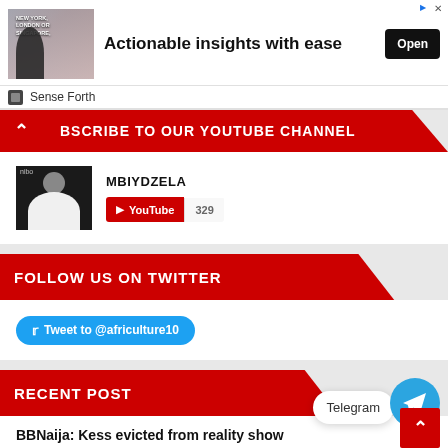[Figure (screenshot): Advertisement banner with image of a man in a business setting, text 'NEW YORK, LONDON OR SINGAPORE,' and headline 'Actionable insights with ease'. Has an 'Open' button.]
Sense Forth
SUBSCRIBE TO OUR YOUTUBE CHANNEL
MBIYDZELA
[Figure (screenshot): YouTube subscribe button widget showing channel MBIYDZELA with subscriber count 329]
FOLLOW US ON TWITTER
Tweet to @africulture10
RECENT POST
BBNaija: Kess evicted from reality show
[Figure (screenshot): Telegram floating button widget]